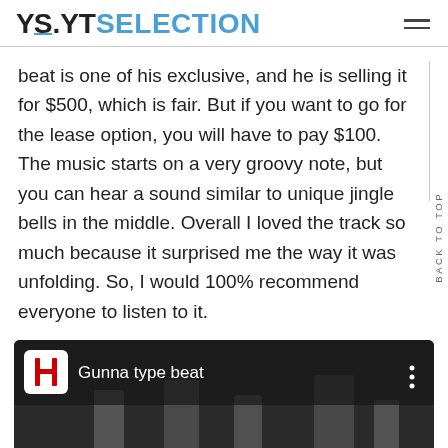YS. YTSELECTION
beat is one of his exclusive, and he is selling it for $500, which is fair. But if you want to go for the lease option, you will have to pay $100. The music starts on a very groovy note, but you can hear a sound similar to unique jingle bells in the middle. Overall I loved the track so much because it surprised me the way it was unfolding. So, I would 100% recommend everyone to listen to it.
[Figure (screenshot): YouTube video thumbnail showing 'Gunna type beat' with a dark background, channel icon with letter H, and silhouette of performers]